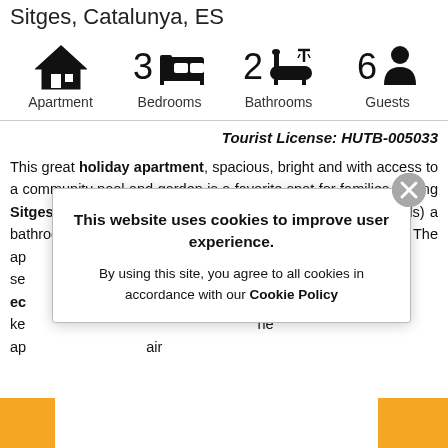Sitges, Catalunya, ES
[Figure (infographic): Property info icons row: Apartment (house icon), 3 Bedrooms (bed icon), 2 Bathrooms (bathtub icon), 6 Guests (person icon)]
Tourist License: HUTB-005033
This great holiday apartment, spacious, bright and with access to a community pool and garden is a favorite spot for families visiting Sitges. It has 3 bedrooms (2 doubles and one with bunk beds) a bathroom and a toilet. The ap[artment] ... se[ries] ... ec[uipped] ... ke[ys] ... ap[artment] ... air[conditioning]
This website uses cookies to improve user experience.
By using this site, you agree to all cookies in accordance with our Cookie Policy